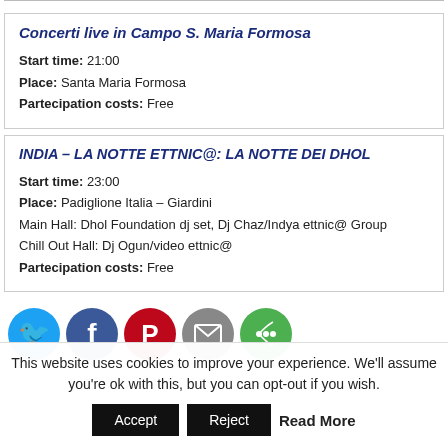Concerti live in Campo S. Maria Formosa
Start time: 21:00
Place: Santa Maria Formosa
Partecipation costs: Free
INDIA – LA NOTTE ETTNIC@: La NOTTE DEI DHOL
Start time: 23:00
Place: Padiglione Italia – Giardini
Main Hall: Dhol Foundation dj set, Dj Chaz/Indya ettnic@ Group
Chill Out Hall: Dj Ogun/video ettnic@
Partecipation costs: Free
[Figure (infographic): Social sharing icons: Twitter (blue), Facebook (dark blue), Pinterest (red), Email (grey), Share (green)]
This website uses cookies to improve your experience. We'll assume you're ok with this, but you can opt-out if you wish.